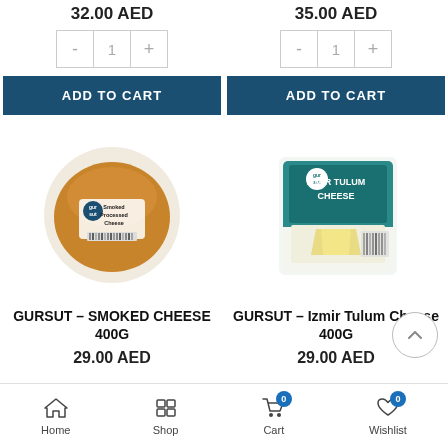32.00 AED
35.00 AED
ADD TO CART
ADD TO CART
[Figure (photo): GURSUT Smoked Processed Cheese 400G product in round plastic-wrapped packaging with golden/brown color]
[Figure (photo): GURSUT Izmir Tulum Cheese 400G product in teal/green rectangular packaging]
GURSUT – SMOKED CHEESE 400G
GURSUT – Izmir Tulum Cheese 400G
29.00 AED
29.00 AED
Home   Shop   Cart 0   Wishlist 0